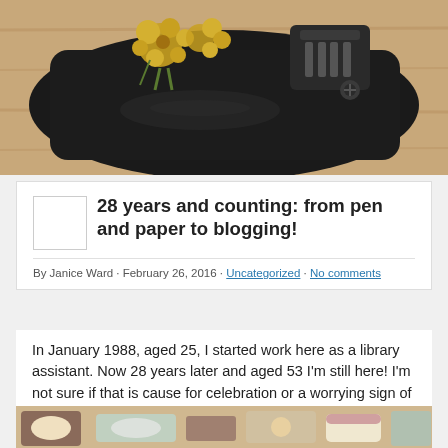[Figure (photo): Photo of a decorative vintage typewriter or inkwell with golden flower decorations on a wooden surface]
28 years and counting: from pen and paper to blogging!
By Janice Ward · February 26, 2016 · Uncategorized · No comments
In January 1988, aged 25, I started work here as a library assistant. Now 28 years later and aged 53 I'm still here! I'm not sure if that is cause for celebration or a worrying sign of my extreme procrastination! My colleagues decided it was a cause for celebration and on my 25th anniversary, presented me with a lovely cake at a surprise party.
[Figure (photo): Partial photo at bottom of page showing a celebration cake]